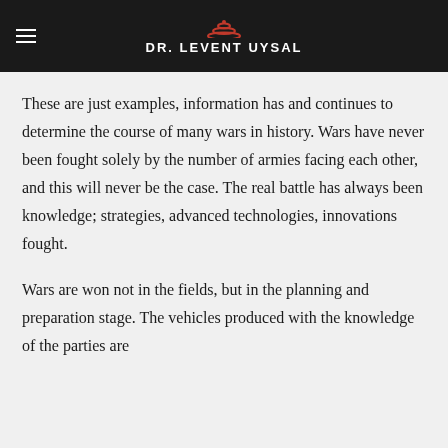DR. LEVENT UYSAL
These are just examples, information has and continues to determine the course of many wars in history. Wars have never been fought solely by the number of armies facing each other, and this will never be the case. The real battle has always been knowledge; strategies, advanced technologies, innovations fought.
Wars are won not in the fields, but in the planning and preparation stage. The vehicles produced with the knowledge of the parties are